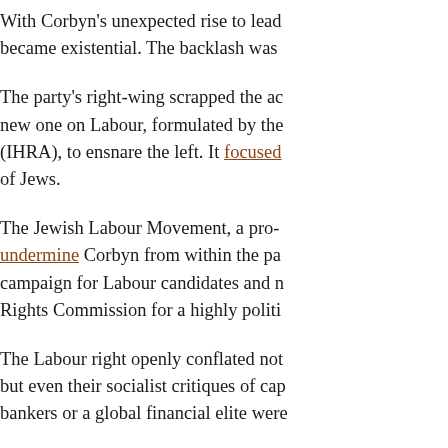With Corbyn's unexpected rise to lead became existential. The backlash was
The party's right-wing scrapped the ac new one on Labour, formulated by the (IHRA), to ensnare the left. It focused of Jews.
The Jewish Labour Movement, a pro- undermine Corbyn from within the pa campaign for Labour candidates and n Rights Commission for a highly politi
The Labour right openly conflated not but even their socialist critiques of cap bankers or a global financial elite were
After this lengthy campaign helped to including Long-Bailey, opted to decla Pledges" from the Board of Deputies, Those demands put the board and the